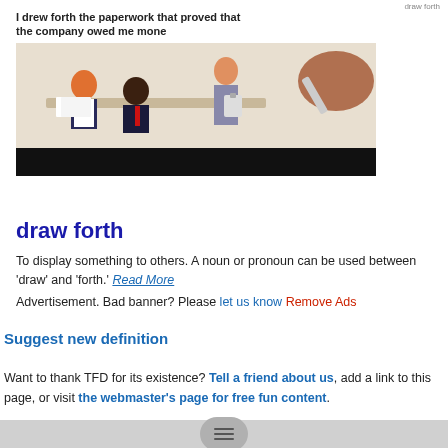draw forth
[Figure (illustration): Illustration showing office meeting scene with cartoon characters; a hand holding a pen draws on the right side. Caption text above reads: I drew forth the paperwork that proved that the company owed me mone[y]]
draw forth
To display something to others. A noun or pronoun can be used between 'draw' and 'forth.' Read More
Advertisement. Bad banner? Please let us know Remove Ads
Suggest new definition
Want to thank TFD for its existence? Tell a friend about us, add a link to this page, or visit the webmaster's page for free fun content.
Link to this page: